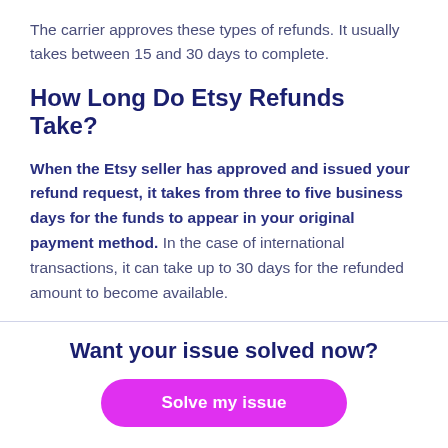The carrier approves these types of refunds. It usually takes between 15 and 30 days to complete.
How Long Do Etsy Refunds Take?
When the Etsy seller has approved and issued your refund request, it takes from three to five business days for the funds to appear in your original payment method. In the case of international transactions, it can take up to 30 days for the refunded amount to become available.
Want your issue solved now?
Solve my issue